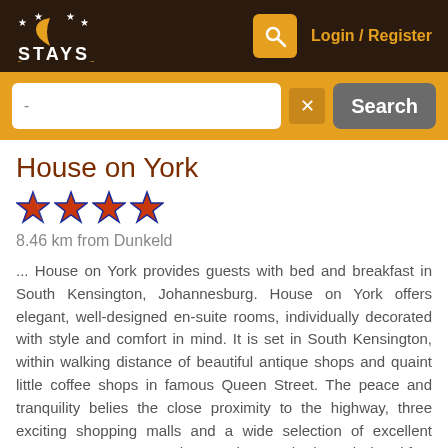STAYS — Login / Register
House on York
8.46 km from Dunkeld
... House on York provides guests with bed and breakfast in South Kensington, Johannesburg. House on York offers elegant, well-designed en-suite rooms, individually decorated with style and comfort in mind. It is set in South Kensington, within walking distance of beautiful antique shops and quaint little coffee shops in famous Queen Street. The peace and tranquility belies the close proximity to the highway, three exciting shopping malls and a wide selection of excellent restaurants. Our South Kensington bed and breakfast accommodation comprises of 5 x Double rooms en-suite, 5 x Double room en-suite